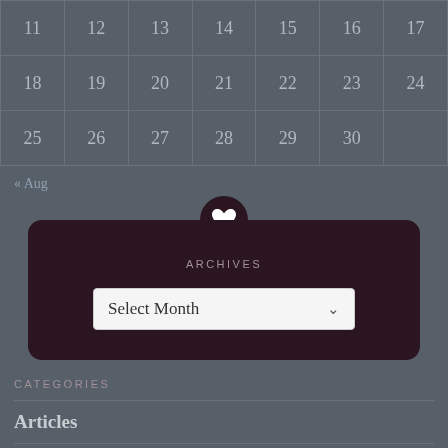| 11 | 12 | 13 | 14 | 15 | 16 | 17 |
| 18 | 19 | 20 | 21 | 22 | 23 | 24 |
| 25 | 26 | 27 | 28 | 29 | 30 |  |
« Aug
ARCHIVES
Select Month
CATEGORIES
Articles
Day to day
Food
movies